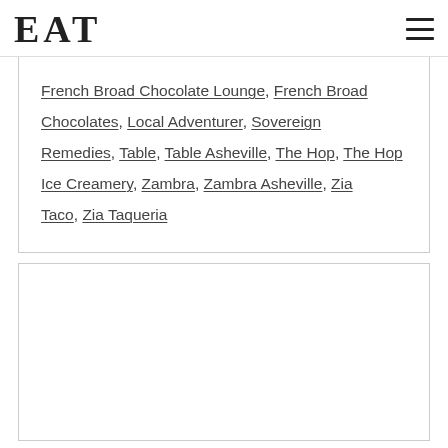EAT
French Broad Chocolate Lounge, French Broad Chocolates, Local Adventurer, Sovereign Remedies, Table, Table Asheville, The Hop, The Hop Ice Creamery, Zambra, Zambra Asheville, Zia Taco, Zia Taqueria
[Figure (other): Empty white box with border, likely a placeholder for an image or widget]